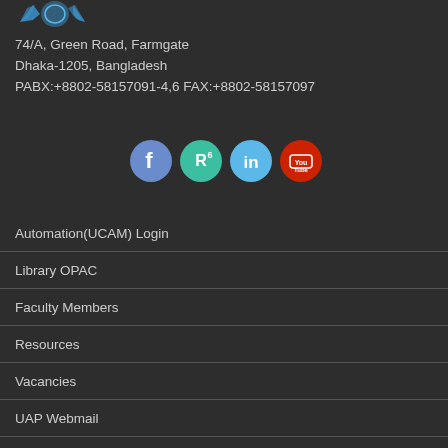[Figure (logo): UAP university logo with stylized letters and emblem]
74/A, Green Road, Farmgate
Dhaka-1205, Bangladesh
PABX:+8802-58157091-4,6 FAX:+8802-58157097
[Figure (infographic): Social media icons: Facebook (blue circle with f), ResearchGate (teal circle with R6), LinkedIn (light blue circle with in), YouTube (red circle with YouTube logo)]
Automation(UCAM) Login
Library OPAC
Faculty Members
Resources
Vacancies
UAP Webmail